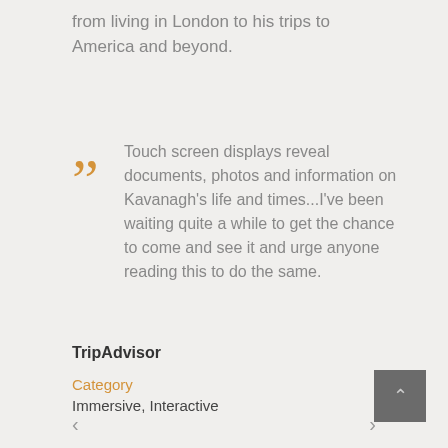from living in London to his trips to America and beyond.
Touch screen displays reveal documents, photos and information on Kavanagh's life and times...I've been waiting quite a while to get the chance to come and see it and urge anyone reading this to do the same.
TripAdvisor
Category
Immersive, Interactive